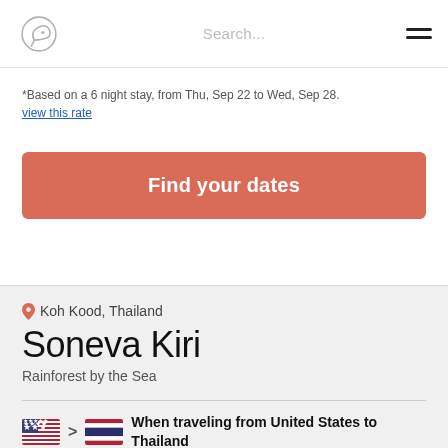Search...
*Based on a 6 night stay, from Thu, Sep 22 to Wed, Sep 28. view this rate
Find your dates
Koh Kood, Thailand
Soneva Kiri
Rainforest by the Sea
When traveling from United States to Thailand
Travel is allowed with restrictions